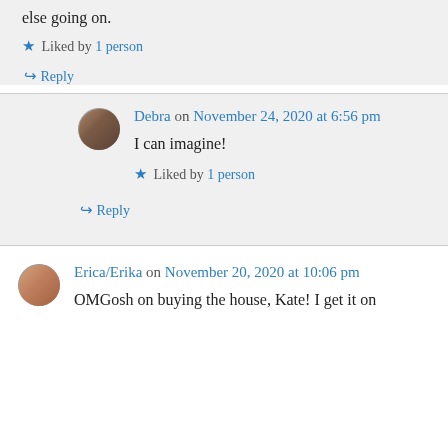else going on.
Liked by 1 person
↪ Reply
Debra on November 24, 2020 at 6:56 pm
I can imagine!
Liked by 1 person
↪ Reply
Erica/Erika on November 20, 2020 at 10:06 pm
OMGosh on buying the house, Kate! I get it on